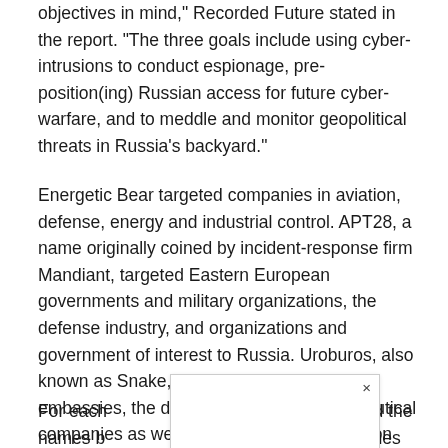objectives in mind," Recorded Future stated in the report. "The three goals include using cyber-intrusions to conduct espionage, pre-position(ing) Russian access for future cyber-warfare, and to meddle and monitor geopolitical threats in Russia's backyard."
Energetic Bear targeted companies in aviation, defense, energy and industrial control. APT28, a name originally coined by incident-response firm Mandiant, targeted Eastern European governments and military organizations, the defense industry, and organizations and government of interest to Russia. Uroburos, also known as Snake, targeted governments, embassies, the defense industry, pharmaceutical companies as well as research and education institutions.
For each [obscured by overlay] cted the names b[obscured] mes of